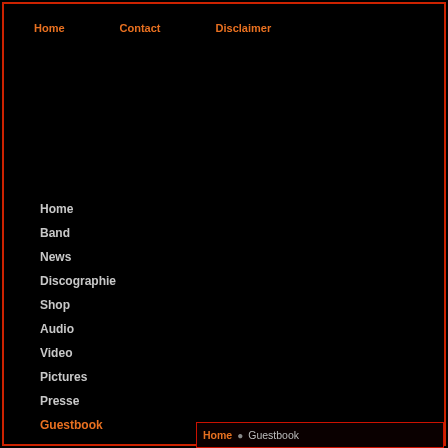Home   Contact   Disclaimer
Home
Band
News
Discographie
Shop
Audio
Video
Pictures
Presse
Guestbook
Home • Guestbook
Online Lenders   12 December 2019 17:06 | US
payday loan fast